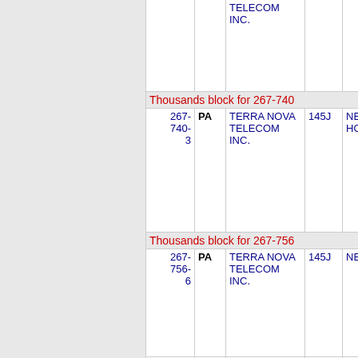| NPA-NXX-X | State | Company | LATA | Rate Center |
| --- | --- | --- | --- | --- |
| (cont.) | PA | TELECOM INC. | 145J |  |
| Thousands block for 267-740 |  |  |  |  |
| 267-740-3 | PA | TERRA NOVA TELECOM INC. | 145J | NEW HOPE |
| Thousands block for 267-756 |  |  |  |  |
| 267-756-6 | PA | TERRA NOVA TELECOM INC. | 145J | NEWTOWN |
| 267-... | PA | TERRA... | 145J | NEWTOWN |